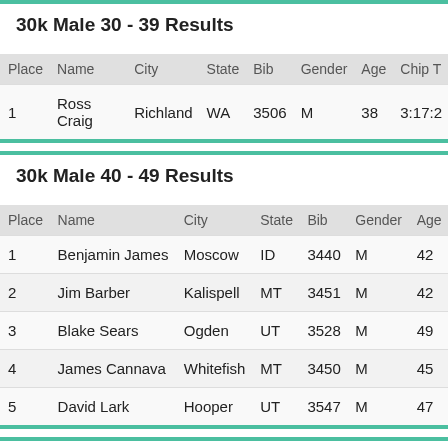30k Male 30 - 39 Results
| Place | Name | City | State | Bib | Gender | Age | Chip T |
| --- | --- | --- | --- | --- | --- | --- | --- |
| 1 | Ross Craig | Richland | WA | 3506 | M | 38 | 3:17:2 |
30k Male 40 - 49 Results
| Place | Name | City | State | Bib | Gender | Age |
| --- | --- | --- | --- | --- | --- | --- |
| 1 | Benjamin James | Moscow | ID | 3440 | M | 42 |
| 2 | Jim Barber | Kalispell | MT | 3451 | M | 42 |
| 3 | Blake Sears | Ogden | UT | 3528 | M | 49 |
| 4 | James Cannava | Whitefish | MT | 3450 | M | 45 |
| 5 | David Lark | Hooper | UT | 3547 | M | 47 |
30k Male 50 - 59 Results